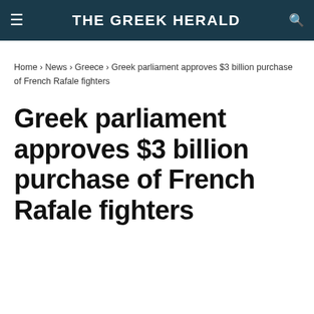THE GREEK HERALD
Home › News › Greece › Greek parliament approves $3 billion purchase of French Rafale fighters
Greek parliament approves $3 billion purchase of French Rafale fighters